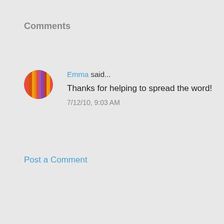Comments
Emma said... Thanks for helping to spread the word! 7/12/10, 9:03 AM
Post a Comment